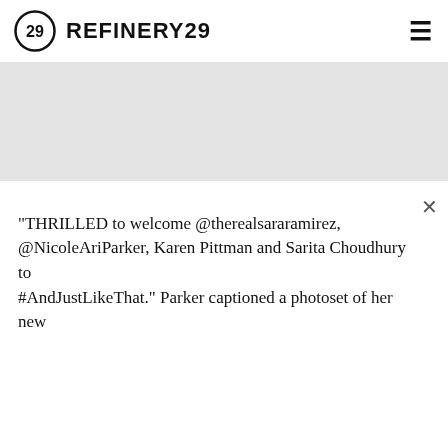REFINERY29
[Figure (photo): Large image area, mostly white/blank space representing a photo placeholder]
"THRILLED to welcome @therealsararamirez, @NicoleAriParker, Karen Pittman and Sarita Choudhury to #AndJustLikeThat." Parker captioned a photoset of her new